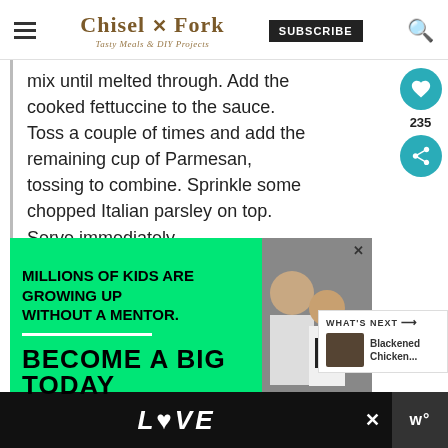Chisel & Fork — Tasty Meals & DIY Projects
mix until melted through. Add the cooked fettuccine to the sauce. Toss a couple of times and add the remaining cup of Parmesan, tossing to combine. Sprinkle some chopped Italian parsley on top. Serve immediately.
[Figure (photo): Advertisement banner: green background with text 'MILLIONS OF KIDS ARE GROWING UP WITHOUT A MENTOR. BECOME A BIG TODAY' with photo of adult and child]
[Figure (photo): What's Next thumbnail: Blackened Chicken...]
[Figure (other): Bottom advertisement bar with decorative LOVE text in black and white illustrated style]